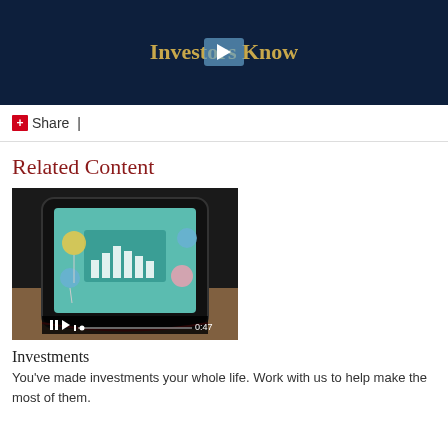[Figure (screenshot): Video player banner with dark navy background showing title 'Investors Know' in gold serif font with a play button overlay]
+ Share  |
Related Content
[Figure (screenshot): Video thumbnail showing a hand holding a smartphone with a teal/mint screen displaying a bar chart graphic and colorful balloons. Duration 0:47. Video player controls visible at bottom.]
Investments
You've made investments your whole life. Work with us to help make the most of them.